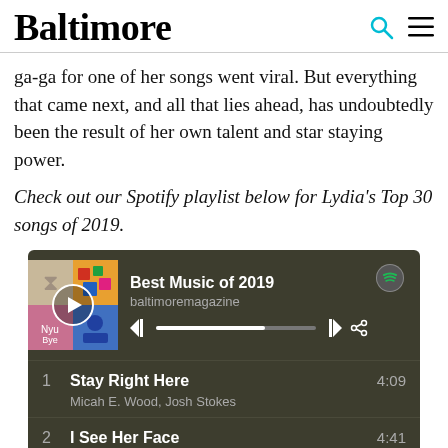Baltimore
ga-ga for one of her songs went viral. But everything that came next, and all that lies ahead, has undoubtedly been the result of her own talent and star staying power.
Check out our Spotify playlist below for Lydia's Top 30 songs of 2019.
[Figure (screenshot): Spotify embedded playlist widget showing 'Best Music of 2019' by baltimoremagazine, with album art collage, play button, progress bar, and track list including: 1. Stay Right Here - Micah E. Wood, Josh Stokes (4:09); 2. I See Her Face - Outer Spaces (4:41); 3. Sat By A Tree - Dan Deacon (4:26)]